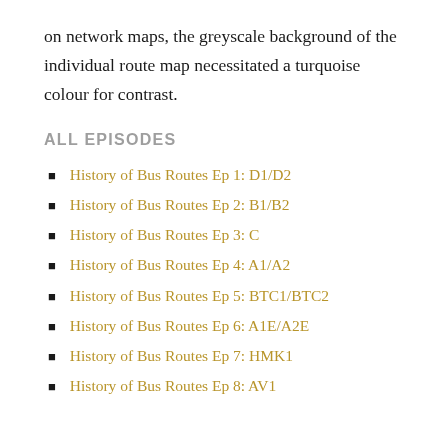on network maps, the greyscale background of the individual route map necessitated a turquoise colour for contrast.
ALL EPISODES
History of Bus Routes Ep 1: D1/D2
History of Bus Routes Ep 2: B1/B2
History of Bus Routes Ep 3: C
History of Bus Routes Ep 4: A1/A2
History of Bus Routes Ep 5: BTC1/BTC2
History of Bus Routes Ep 6: A1E/A2E
History of Bus Routes Ep 7: HMK1
History of Bus Routes Ep 8: AV1